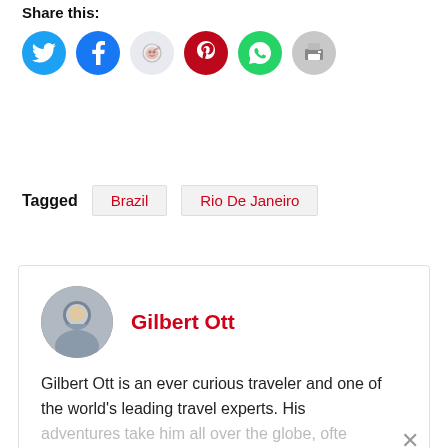Share this:
[Figure (infographic): Row of six social share icon buttons: Twitter (blue), Facebook (dark blue), Reddit (light gray), Pinterest (red), WhatsApp (green), Print (gray)]
Tagged   Brazil   Rio De Janeiro
Gilbert Ott
Gilbert Ott is an ever curious traveler and one of the world's leading travel experts. His adventures take him all over the globe, ofte...